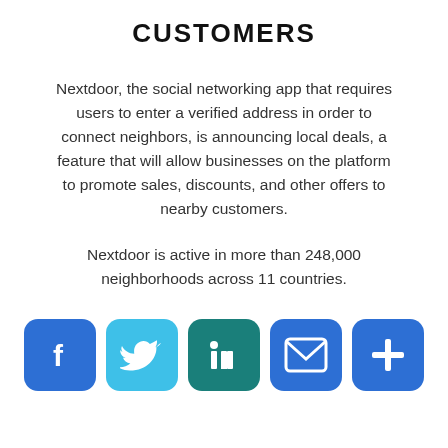CUSTOMERS
Nextdoor, the social networking app that requires users to enter a verified address in order to connect neighbors, is announcing local deals, a feature that will allow businesses on the platform to promote sales, discounts, and other offers to nearby customers.
Nextdoor is active in more than 248,000 neighborhoods across 11 countries.
[Figure (infographic): Five social sharing icon buttons: Facebook (blue), Twitter (light blue), LinkedIn (teal), Email/Mail (blue), and a Plus/More button (blue)]